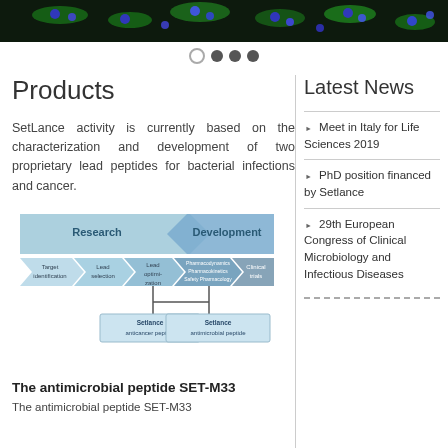[Figure (photo): Microscopy image of cells showing green and blue fluorescent staining on dark background]
[Figure (infographic): Navigation dots: one empty circle and three filled dark circles]
Products
SetLance activity is currently based on the characterization and development of two proprietary lead peptides for bacterial infections and cancer.
[Figure (flowchart): Drug development pipeline diagram showing Research and Development phases with stages: Target identification, Lead selection, Lead optimization, Pharmacodynamics/Pharmacokinetics/Safety Pharmacology, Clinical trials. Two branches at bottom: Setlance anticancer peptide and Setlance antimicrobial peptide.]
Latest News
Meet in Italy for Life Sciences 2019
PhD position financed by Setlance
29th European Congress of Clinical Microbiology and Infectious Diseases
The antimicrobial peptide SET-M33
The antimicrobial peptide SET-M33